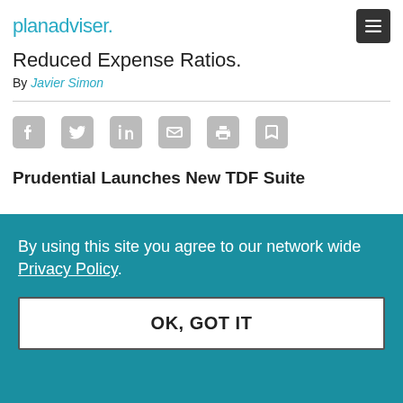planadviser.
Reduced Expense Ratios.
By Javier Simon
[Figure (other): Social sharing icons: Facebook, Twitter, LinkedIn, Email, Print, Save/Note]
Prudential Launches New TDF Suite
By using this site you agree to our network wide Privacy Policy.
OK, GOT IT